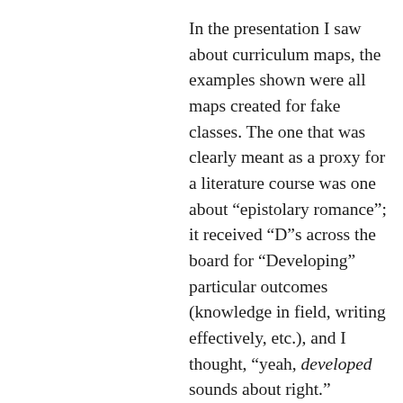In the presentation I saw about curriculum maps, the examples shown were all maps created for fake classes. The one that was clearly meant as a proxy for a literature course was one about “epistolary romance”; it received “D”s across the board for “Developing” particular outcomes (knowledge in field, writing effectively, etc.), and I thought, “yeah, developed sounds about right.” Because what would it mean to have mastered “epistolary romance”? What kind of evidence would you need to prove your mastery? An annotated copy of